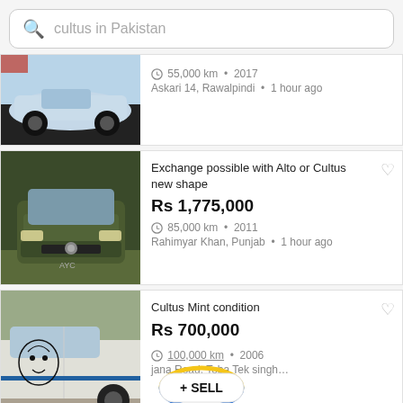cultus in Pakistan
[Figure (screenshot): Partial car listing card showing a light blue/silver car side view, 55,000 km · 2017, Askari 14, Rawalpindi · 1 hour ago]
[Figure (screenshot): Car listing: Exchange possible with Alto or Cultus new shape, Rs 1,775,000, 85,000 km · 2011, Rahimyar Khan, Punjab · 1 hour ago. Shows a green Toyota Corolla front view.]
[Figure (screenshot): Car listing: Cultus Mint condition, Rs 700,000, 100,000 km · 2006, Dijana Road, Toba Tek singh... A white car with an illustration on the door. Shows SELL button overlay.]
[Figure (screenshot): Partial listing at bottom: Suzuki Cultus Limited Edition 2017]